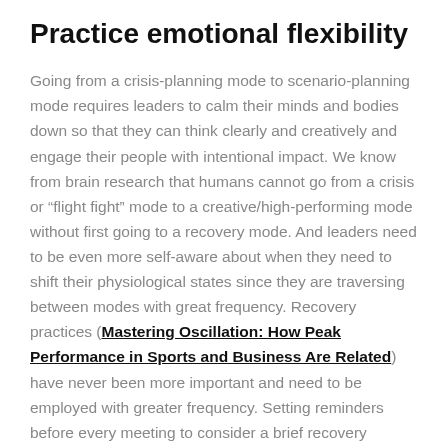Practice emotional flexibility
Going from a crisis-planning mode to scenario-planning mode requires leaders to calm their minds and bodies down so that they can think clearly and creatively and engage their people with intentional impact. We know from brain research that humans cannot go from a crisis or “flight fight” mode to a creative/high-performing mode without first going to a recovery mode. And leaders need to be even more self-aware about when they need to shift their physiological states since they are traversing between modes with great frequency. Recovery practices (Mastering Oscillation: How Peak Performance in Sports and Business Are Related) have never been more important and need to be employed with greater frequency. Setting reminders before every meeting to consider a brief recovery moment (e.g., deep breathing to calm the autonomic nervous system) can help. Planning